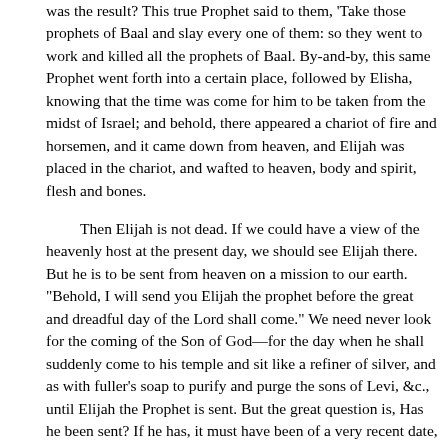was the result? This true Prophet said to them, 'Take those prophets of Baal and slay every one of them: so they went to work and killed all the prophets of Baal. By-and-by, this same Prophet went forth into a certain place, followed by Elisha, knowing that the time was come for him to be taken from the midst of Israel; and behold, there appeared a chariot of fire and horsemen, and it came down from heaven, and Elijah was placed in the chariot, and wafted to heaven, body and spirit, flesh and bones.
Then Elijah is not dead. If we could have a view of the heavenly host at the present day, we should see Elijah there. But he is to be sent from heaven on a mission to our earth. "Behold, I will send you Elijah the prophet before the great and dreadful day of the Lord shall come." We need never look for the coming of the Son of God—for the day when he shall suddenly come to his temple and sit like a refiner of silver, and as with fuller's soap to purify and purge the sons of Levi, &c., until Elijah the Prophet is sent. But the great question is, Has he been sent? If he has, it must have been of a very recent date, for the great and dreadful day of the Lord has not yet come; for there are still wicked men upon the earth. What is the testimony of the Prophet Joseph Smith? We believe him to be the Prophet of the Lord in this great and last dispensation. We Latter-day Saints believe this fact.